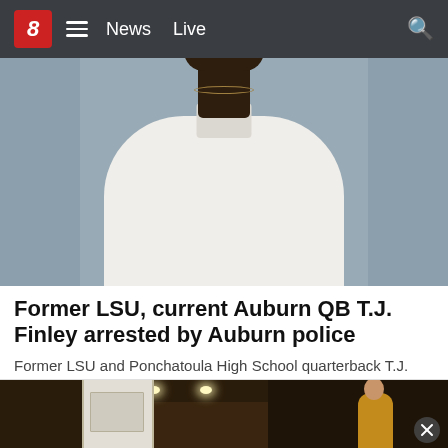8 News Live
[Figure (photo): Mugshot-style photo of a young Black man wearing a white t-shirt, against a gray wall background]
Former LSU, current Auburn QB T.J. Finley arrested by Auburn police
Former LSU and Ponchatoula High School quarterback T.J. Finley was arrested on Thursday, Aug. 4, by the Auburn …
FOX 8
[Figure (photo): Interior room scene, partially visible, with a door frame and recessed ceiling lights; a person in a yellow shirt is visible at the right edge. A close button (X) is in the bottom right corner.]